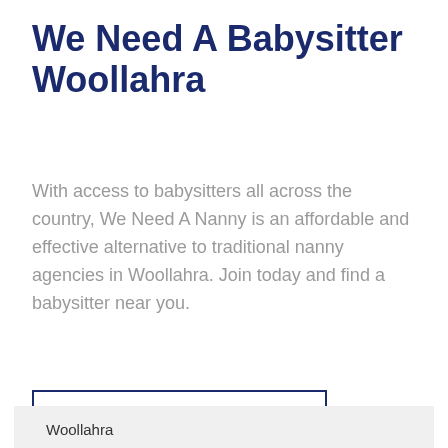We Need A Babysitter Woollahra
With access to babysitters all across the country, We Need A Nanny is an affordable and effective alternative to traditional nanny agencies in Woollahra. Join today and find a babysitter near you.
FIND A BABYSITTER
Woollahra